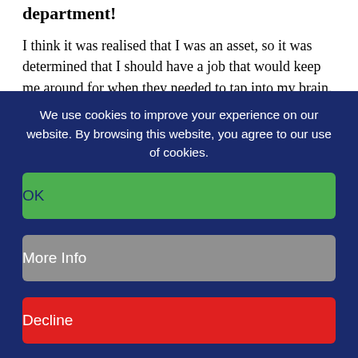department!
I think it was realised that I was an asset, so it was determined that I should have a job that would keep me around for when they needed to tap into my brain. In 2008, I became Director of Special Projects. I basically was the corporate memory at Grand Lodge. It is one of those roles that myself and the Deputy Grand Secretary Graham Redman do. We
We use cookies to improve your experience on our website. By browsing this website, you agree to our use of cookies.
OK
More Info
Decline